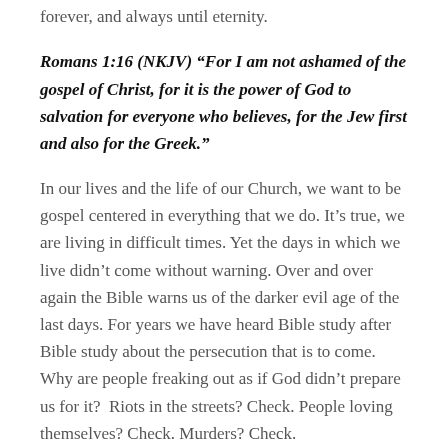forever, and always until eternity.
Romans 1:16 (NKJV) “For I am not ashamed of the gospel of Christ, for it is the power of God to salvation for everyone who believes, for the Jew first and also for the Greek.”
In our lives and the life of our Church, we want to be gospel centered in everything that we do. It’s true, we are living in difficult times. Yet the days in which we live didn’t come without warning. Over and over again the Bible warns us of the darker evil age of the last days. For years we have heard Bible study after Bible study about the persecution that is to come. Why are people freaking out as if God didn’t prepare us for it?  Riots in the streets? Check. People loving themselves? Check. Murders? Check.